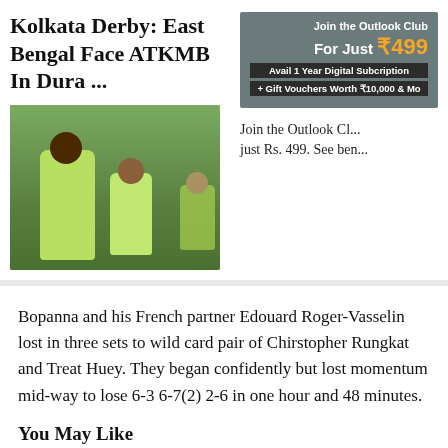Kolkata Derby: East Bengal Face ATKMB In Dura ...
[Figure (photo): Football players in yellow/green training jerseys at an outdoor training session]
[Figure (infographic): Advertisement banner: Join the Outlook Club For Just ₹499. Avail 1 Year Digital Subscription + Gift Vouchers Worth ₹10,000 & Mo...]
Join the Outlook Cl... just Rs. 499. See ben...
Bopanna and his French partner Edouard Roger-Vasselin lost in three sets to wild card pair of Chirstopher Rungkat and Treat Huey. They began confidently but lost momentum mid-way to lose 6-3 6-7(2) 2-6 in one hour and 48 minutes.
You May Like